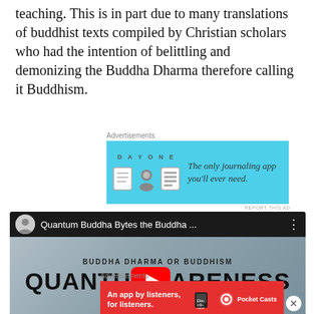teaching. This is in part due to many translations of buddhist texts compiled by Christian scholars who had the intention of belittling and demonizing the Buddha Dharma therefore calling it Buddhism.
[Figure (other): DayOne journaling app advertisement banner with light blue background, app icons, and text 'The only journaling app you'll ever need.']
[Figure (other): YouTube video embed for 'Quantum Buddha Bytes the Buddha...' with thumbnail showing text 'BUDDHA DHARMA OR BUDDHISM' and 'QUANTUM AWARENESS' with a YouTube play button overlay]
[Figure (other): Pocket Casts app advertisement banner with red background showing 'An app by listeners, for listeners.' with Pocket Casts logo]